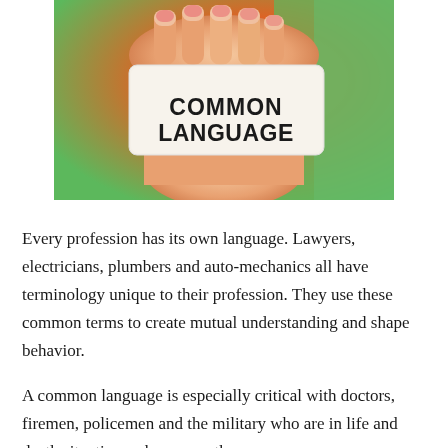[Figure (photo): A hand holding a card that reads 'COMMON LANGUAGE' in bold black text, against a colorful blurred background.]
Every profession has its own language. Lawyers, electricians, plumbers and auto-mechanics all have terminology unique to their profession. They use these common terms to create mutual understanding and shape behavior.
A common language is especially critical with doctors, firemen, policemen and the military who are in life and death situations where even the